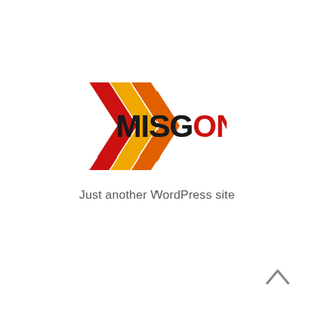[Figure (logo): MISGONLINE logo with chevron/arrow shapes in red, orange, and yellow on the left side, and the text MISG in black bold and ONLINE in red bold.]
Just another WordPress site